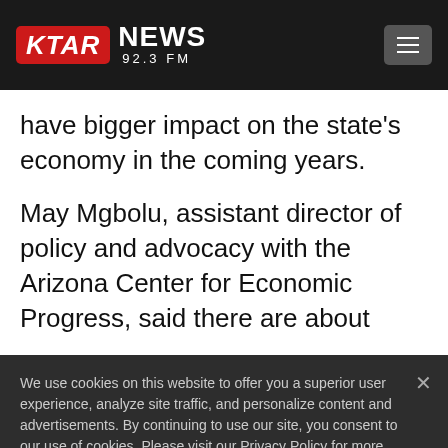KTAR NEWS 92.3 FM
have bigger impact on the state’s economy in the coming years.
May Mgbolu, assistant director of policy and advocacy with the Arizona Center for Economic Progress, said there are about
We use cookies on this website to offer you a superior user experience, analyze site traffic, and personalize content and advertisements. By continuing to use our site, you consent to our use of cookies. Please visit our Privacy Policy for more information.
Accept Cookies